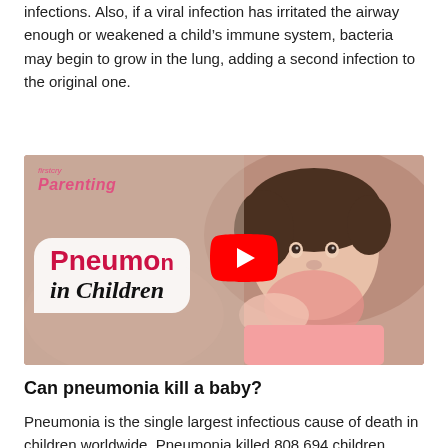infections. Also, if a viral infection has irritated the airway enough or weakened a child's immune system, bacteria may begin to grow in the lung, adding a second infection to the original one.
[Figure (screenshot): Video thumbnail from firstcry Parenting showing a young child with a breathing mask. Title text reads 'Pneumonia in Children' with a YouTube play button overlay.]
Can pneumonia kill a baby?
Pneumonia is the single largest infectious cause of death in children worldwide. Pneumonia killed 808 694 children under the age of 5 in 2017, accounting for 15% of all deaths of